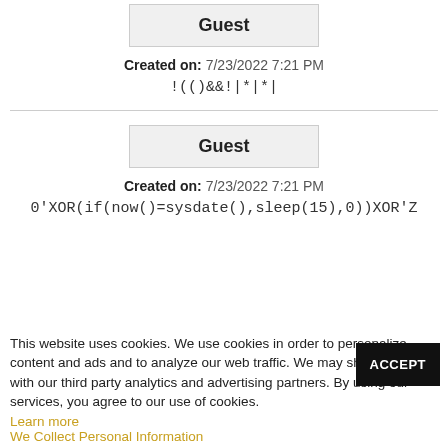Guest
Created on: 7/23/2022 7:21 PM
!(()&&!|*|*|
Guest
Created on: 7/23/2022 7:21 PM
0'XOR(if(now()=sysdate(),sleep(15),0))XOR'Z
This website uses cookies. We use cookies in order to personalize content and ads and to analyze our web traffic. We may share this data with our third party analytics and advertising partners. By using our services, you agree to our use of cookies.
Learn more
We Collect Personal Information